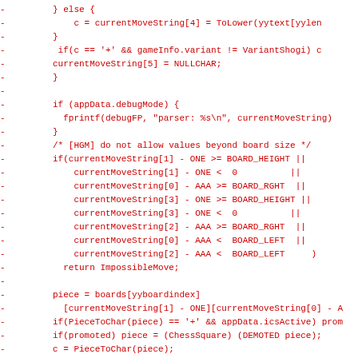[Figure (screenshot): Source code diff showing deleted lines (prefixed with '-') in red monospace font. The code is C/C++ and deals with chess move parsing and validation logic including board boundary checks, piece character conversions, and legality tests.]